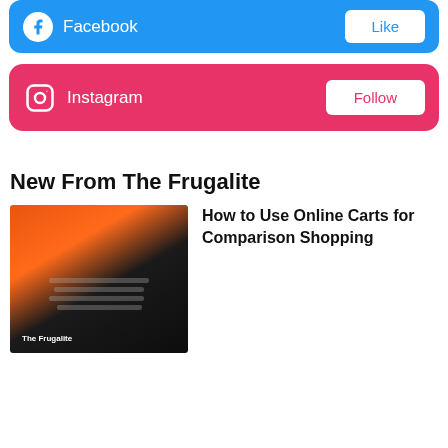[Figure (screenshot): Facebook social bar with blue background, Facebook icon, 'Facebook' text, and 'Like' button]
[Figure (screenshot): Instagram social bar with pink/red background, Instagram icon, 'Instagram' text, and 'Follow' button]
New From The Frugalite
[Figure (photo): Photo showing shopping carts on an orange and dark background with 'The Frugalite' text overlay]
How to Use Online Carts for Comparison Shopping